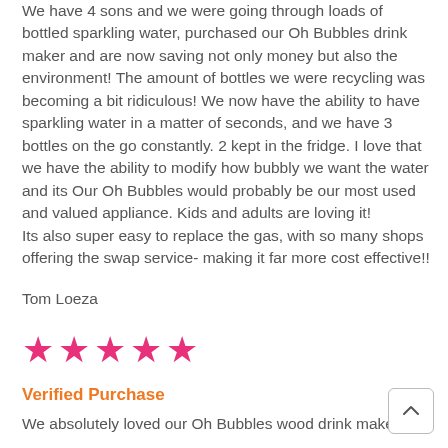We have 4 sons and we were going through loads of bottled sparkling water, purchased our Oh Bubbles drink maker and are now saving not only money but also the environment! The amount of bottles we were recycling was becoming a bit ridiculous! We now have the ability to have sparkling water in a matter of seconds, and we have 3 bottles on the go constantly. 2 kept in the fridge. I love that we have the ability to modify how bubbly we want the water and its Our Oh Bubbles would probably be our most used and valued appliance. Kids and adults are loving it!
Its also super easy to replace the gas, with so many shops offering the swap service- making it far more cost effective!!
Tom Loeza
[Figure (other): Five pink/magenta filled star icons in a row representing a 5-star rating]
Verified Purchase
We absolutely loved our Oh Bubbles wood drink maker ,